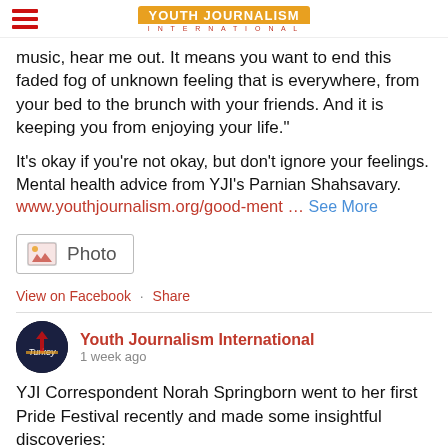Youth Journalism International
music, hear me out. It means you want to end this faded fog of unknown feeling that is everywhere, from your bed to the brunch with your friends. And it is keeping you from enjoying your life.”
It’s okay if you’re not okay, but don’t ignore your feelings. Mental health advice from YJI’s Parnian Shahsavary. www.youthjournalism.org/good-ment … See More
Photo
View on Facebook · Share
Youth Journalism International
1 week ago
YJI Correspondent Norah Springborn went to her first Pride Festival recently and made some insightful discoveries: www.youthjournalism.org/learning-a-thing-or-two-at-the-pride-festival/